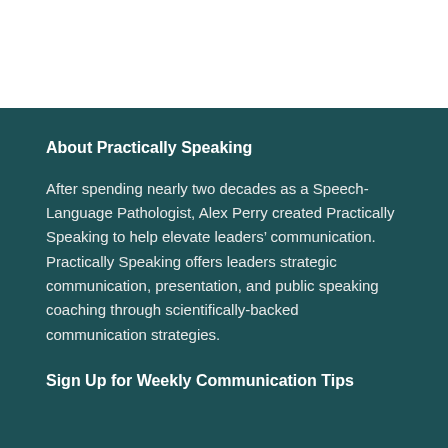About Practically Speaking
After spending nearly two decades as a Speech-Language Pathologist, Alex Perry created Practically Speaking to help elevate leaders’ communication. Practically Speaking offers leaders strategic communication, presentation, and public speaking coaching through scientifically-backed communication strategies.
Sign Up for Weekly Communication Tips